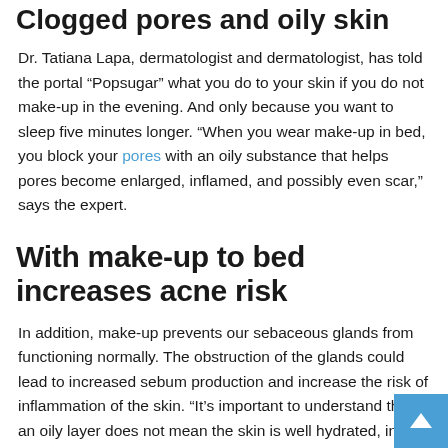Clogged pores and oily skin
Dr. Tatiana Lapa, dermatologist and dermatologist, has told the portal “Popsugar” what you do to your skin if you do not make-up in the evening. And only because you want to sleep five minutes longer. “When you wear make-up in bed, you block your pores with an oily substance that helps pores become enlarged, inflamed, and possibly even scar,” says the expert.
With make-up to bed increases acne risk
In addition, make-up prevents our sebaceous glands from functioning normally. The obstruction of the glands could lead to increased sebum production and increase the risk of inflammation of the skin. “It’s important to understand that an oily layer does not mean the skin is well hydrated, in fact, oil